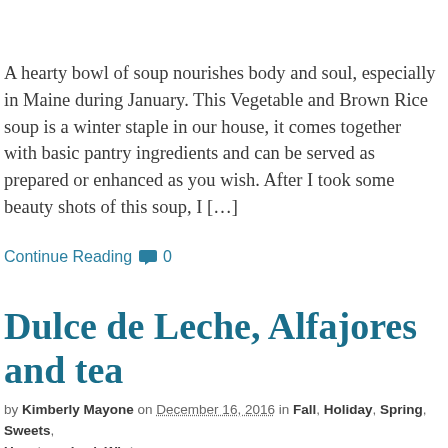A hearty bowl of soup nourishes body and soul, especially in Maine during January. This Vegetable and Brown Rice soup is a winter staple in our house, it comes together with basic pantry ingredients and can be served as prepared or enhanced as you wish. After I took some beauty shots of this soup, I […]
Continue Reading 💬 0
Dulce de Leche, Alfajores and tea
by Kimberly Mayone on December 16, 2016 in Fall, Holiday, Spring, Sweets, Uncategorized, Winter